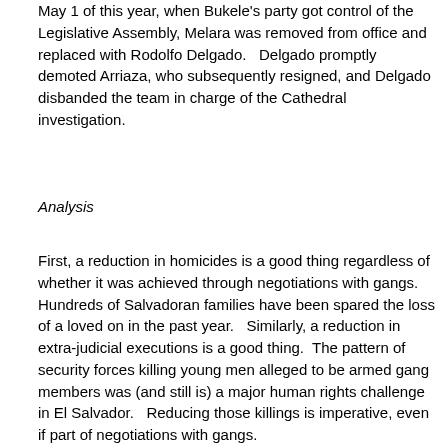May 1 of this year, when Bukele's party got control of the Legislative Assembly, Melara was removed from office and replaced with Rodolfo Delgado.   Delgado promptly demoted Arriaza, who subsequently resigned, and Delgado disbanded the team in charge of the Cathedral investigation.
Analysis
First, a reduction in homicides is a good thing regardless of whether it was achieved through negotiations with gangs.  Hundreds of Salvadoran families have been spared the loss of a loved on in the past year.   Similarly, a reduction in extra-judicial executions is a good thing.  The pattern of security forces killing young men alleged to be armed gang members was (and still is) a major human rights challenge in El Salvador.   Reducing those killings is imperative, even if part of negotiations with gangs.
Second, this is hardly the first time that Salvadoran politicians have negotiated with gangs, nor is it the first time that El Faro